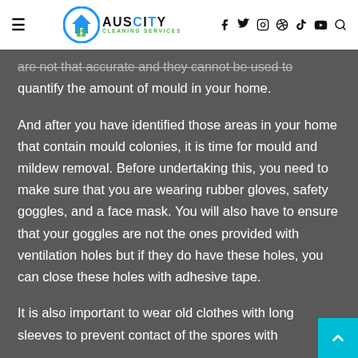≡  AUSCITY CLEANING SERVICES  f  🐦  📷  𝕡  ▶  🔍
are not that accurate and they cannot be used to quantify the amount of mould in your home.
And after you have identified those areas in your home that contain mould colonies, it is time for mould and mildew removal. Before undertaking this, you need to make sure that you are wearing rubber gloves, safety goggles, and a face mask. You will also have to ensure that your goggles are not the ones provided with ventilation holes but if they do have these holes, you can close these holes with adhesive tape.
It is also important to wear old clothes with long sleeves to prevent contact of the spores with